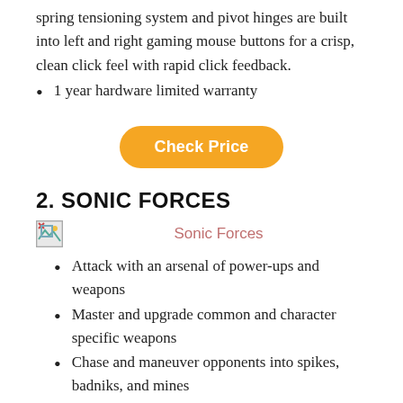spring tensioning system and pivot hinges are built into left and right gaming mouse buttons for a crisp, clean click feel with rapid click feedback.
1 year hardware limited warranty
[Figure (other): Check Price button - orange rounded rectangle button with white text]
2. SONIC FORCES
[Figure (photo): Broken image placeholder with caption 'Sonic Forces' in pink/rose text]
Attack with an arsenal of power-ups and weapons
Master and upgrade common and character specific weapons
Chase and maneuver opponents into spikes, badniks, and mines
Go faster with on-track dash pads, springs, grind rails, and boost rings